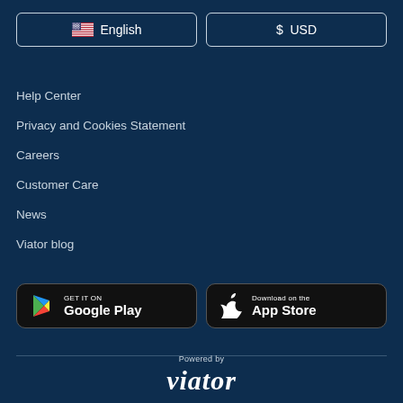[Figure (other): Language selector button with US flag and English text]
[Figure (other): Currency selector button with $ USD text]
Help Center
Privacy and Cookies Statement
Careers
Customer Care
News
Viator blog
[Figure (other): Get it on Google Play store button]
[Figure (other): Download on the App Store button]
Powered by
[Figure (logo): Viator logo in white italic serif font]